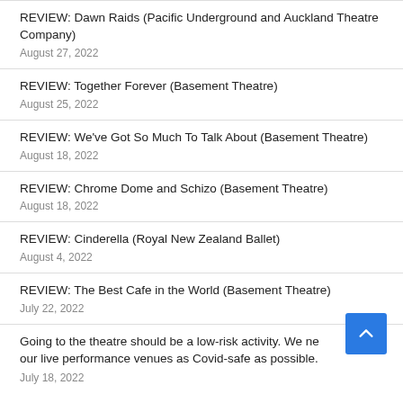REVIEW: Dawn Raids (Pacific Underground and Auckland Theatre Company)
August 27, 2022
REVIEW: Together Forever (Basement Theatre)
August 25, 2022
REVIEW: We've Got So Much To Talk About (Basement Theatre)
August 18, 2022
REVIEW: Chrome Dome and Schizo (Basement Theatre)
August 18, 2022
REVIEW: Cinderella (Royal New Zealand Ballet)
August 4, 2022
REVIEW: The Best Cafe in the World (Basement Theatre)
July 22, 2022
Going to the theatre should be a low-risk activity. We need to make our live performance venues as Covid-safe as possible.
July 18, 2022